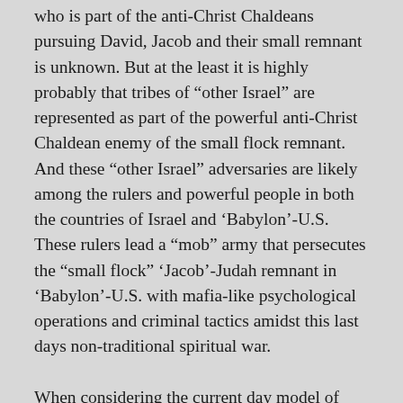who is part of the anti-Christ Chaldeans pursuing David, Jacob and their small remnant is unknown. But at the least it is highly probably that tribes of “other Israel” are represented as part of the powerful anti-Christ Chaldean enemy of the small flock remnant. And these “other Israel” adversaries are likely among the rulers and powerful people in both the countries of Israel and ‘Babylon’-U.S. These rulers lead a “mob” army that persecutes the “small flock” ‘Jacob’-Judah remnant in ‘Babylon’-U.S. with mafia-like psychological operations and criminal tactics amidst this last days non-traditional spiritual war.
When considering the current day model of interrelationship between the country of Israel (Judah) and the proxy northern kingdom/Ephraim (U.S.), we might look for some kind of historical precedent within a corrupt Judah-corrupt ‘northern